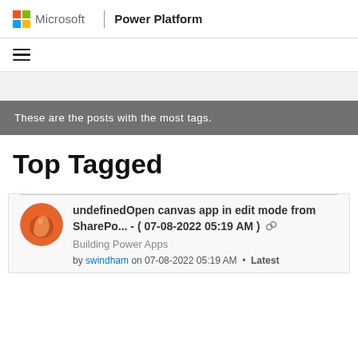Microsoft | Power Platform
These are the posts with the most tags.
Top Tagged
undefinedOpen canvas app in edit mode from SharePo... - ( 07-08-2022 05:19 AM ) Building Power Apps by swindham on 07-08-2022 05:19 AM  •  Latest